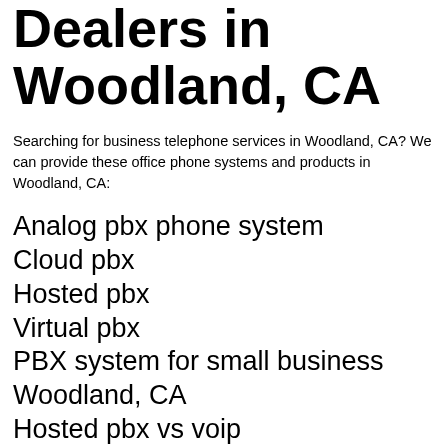Dealers in Woodland, CA
Searching for business telephone services in Woodland, CA? We can provide these office phone systems and products in Woodland, CA:
Analog pbx phone system
Cloud pbx
Hosted pbx
Virtual pbx
PBX system for small business
Woodland, CA
Hosted pbx vs voip